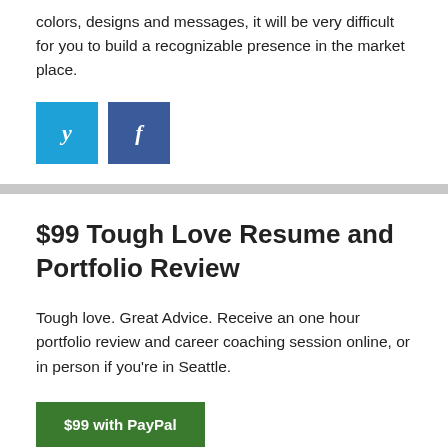colors, designs and messages, it will be very difficult for you to build a recognizable presence in the market place.
[Figure (other): Twitter and Facebook social share buttons]
$99 Tough Love Resume and Portfolio Review
Tough love. Great Advice. Receive an one hour portfolio review and career coaching session online, or in person if you're in Seattle.
[Figure (other): $99 with PayPal button]